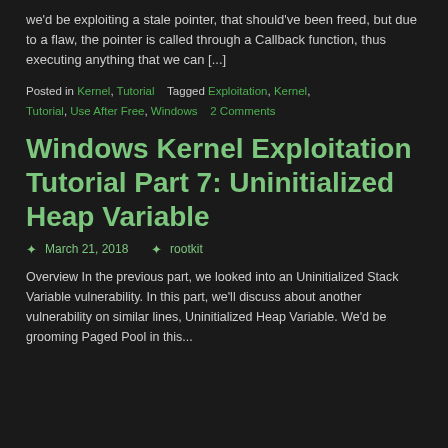we'd be exploiting a stale pointer, that should've been freed, but due to a flaw, the pointer is called through a Callback function, thus executing anything that we can [...]
Posted in Kernel, Tutorial   Tagged Exploitation, Kernel, Tutorial, Use After Free, Windows   2 Comments
Windows Kernel Exploitation Tutorial Part 7: Uninitialized Heap Variable
March 21, 2018   rootkit
Overview In the previous part, we looked into an Uninitialized Stack Variable vulnerability. In this part, we'll discuss about another vulnerability on similar lines, Uninitialized Heap Variable. We'd be grooming Paged Pool in this...